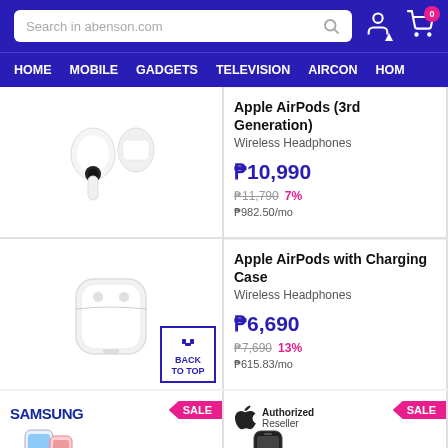[Figure (screenshot): Abenson.com e-commerce website screenshot showing navigation header with search bar, nav menu, and product listings for Apple AirPods]
Search in abenson.com | HOME | MOBILE | GADGETS | TELEVISION | AIRCON | HOM
Apple AirPods (3rd Generation) - Wireless Headphones - P10,990 - P11,790 7% - P982.50/mo
Apple AirPods with Charging Case - Wireless Headphones - P6,690 - P7,690 13% - P615.83/mo
SAMSUNG SALE
Apple Authorized Reseller SALE